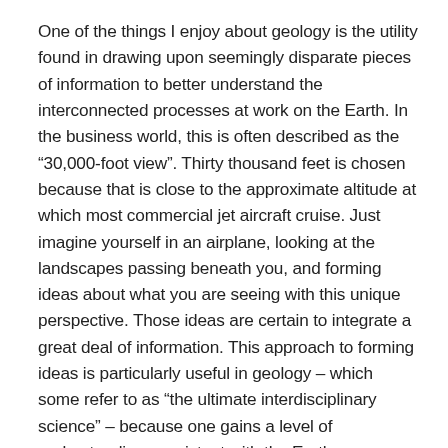One of the things I enjoy about geology is the utility found in drawing upon seemingly disparate pieces of information to better understand the interconnected processes at work on the Earth. In the business world, this is often described as the “30,000-foot view”. Thirty thousand feet is chosen because that is close to the approximate altitude at which most commercial jet aircraft cruise. Just imagine yourself in an airplane, looking at the landscapes passing beneath you, and forming ideas about what you are seeing with this unique perspective. Those ideas are certain to integrate a great deal of information. This approach to forming ideas is particularly useful in geology – which some refer to as “the ultimate interdisciplinary science” – because one gains a level of understanding consistent with the Earth as a complex system.